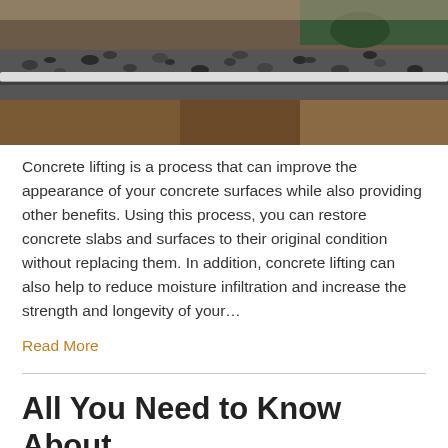[Figure (photo): Close-up photo of fresh concrete being poured and leveled on a construction site, with a white screed board and gravel/aggregate visible, person's feet in background]
Concrete lifting is a process that can improve the appearance of your concrete surfaces while also providing other benefits. Using this process, you can restore concrete slabs and surfaces to their original condition without replacing them. In addition, concrete lifting can also help to reduce moisture infiltration and increase the strength and longevity of your…
Read More
All You Need to Know About